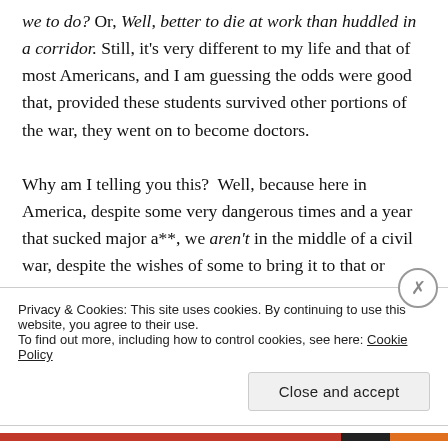we to do? Or, Well, better to die at work than huddled in a corridor. Still, it's very different to my life and that of most Americans, and I am guessing the odds were good that, provided these students survived other portions of the war, they went on to become doctors.

Why am I telling you this? Well, because here in America, despite some very dangerous times and a year that sucked major a**, we aren't in the middle of a civil war, despite the wishes of some to bring it to that or
Privacy & Cookies: This site uses cookies. By continuing to use this website, you agree to their use.
To find out more, including how to control cookies, see here: Cookie Policy
Close and accept